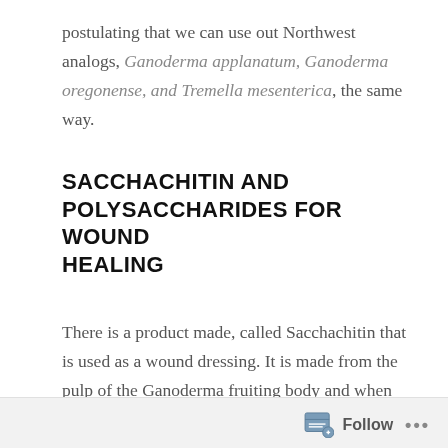postulating that we can use out Northwest analogs, Ganoderma applanatum, Ganoderma oregonense, and Tremella mesenterica, the same way.
SACCHACHITIN AND POLYSACCHARIDES FOR WOUND HEALING
There is a product made, called Sacchachitin that is used as a wound dressing. It is made from the pulp of the Ganoderma fruiting body and when used, significantly speeds up the healing process of skin wounds. (Hung 2004) This product of course is not manufacturable by the general public, yet it is easy enough to chop up the Ganoderma into small pieces, place in a blender with a
Follow ...